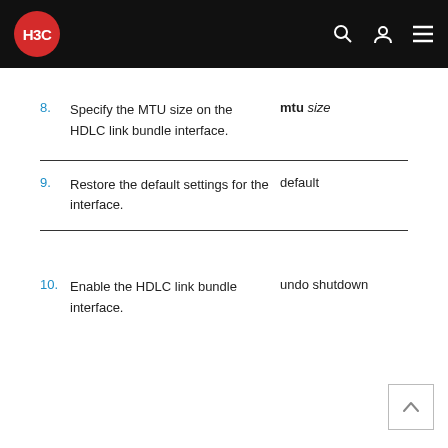H3C
8. Specify the MTU size on the HDLC link bundle interface.
9. Restore the default settings for the interface.
10. Enable the HDLC link bundle interface.